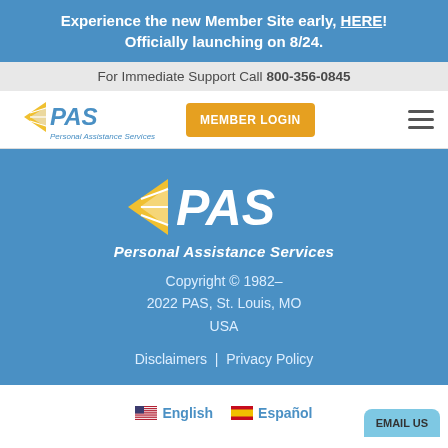Experience the new Member Site early, HERE! Officially launching on 8/24.
For Immediate Support Call 800-356-0845
[Figure (logo): PAS Personal Assistance Services logo with blue arrow and text in navigation bar]
MEMBER LOGIN
[Figure (logo): PAS Personal Assistance Services large white logo on blue background]
Copyright © 1982–2022 PAS, St. Louis, MO USA
Disclaimers  |  Privacy Policy
English  Español
EMAIL US